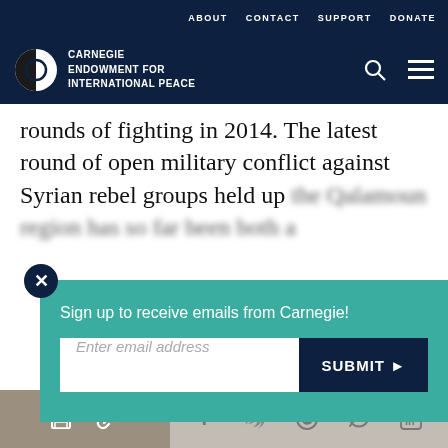ABOUT   CONTACT   SUPPORT   DONATE
[Figure (logo): Carnegie Endowment for International Peace logo with circular black and white emblem and navigation icons (search, hamburger menu)]
rounds of fighting in 2014. The latest round of open military conflict against Syrian rebel groups held up the Qalamoun region has so far been both a
[Figure (screenshot): Email signup overlay popup with teal background, close button (X), text 'Sign up to receive emails from Carnegie!', email input field, and dark navy SUBMIT button with arrow]
bolster Hezbollah's rhetoric that its involvement in the Syrian civil war in support of the Assad regime
Print, Share, Facebook, Twitter, WhatsApp, Messenger, LinkedIn social sharing icons